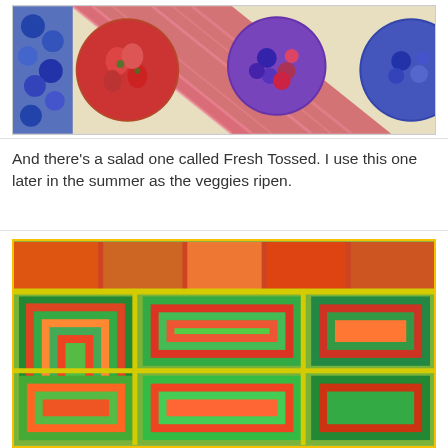[Figure (photo): A colorful quilt with circular fabric patches showing various berries and fruits (strawberries, blueberries, raspberries, mixed berries) set on a cream background with a pink/red gingham border strip.]
And there's a salad one called Fresh Tossed. I use this one later in the summer as the veggies ripen.
[Figure (photo): A colorful vegetable-themed quilt called 'Fresh Tossed' featuring fabric patches with tomatoes, peppers, carrots, green vegetables, onions, and other vegetables in red, orange, yellow, and green tones arranged in a log-cabin style block pattern with a yellow border.]